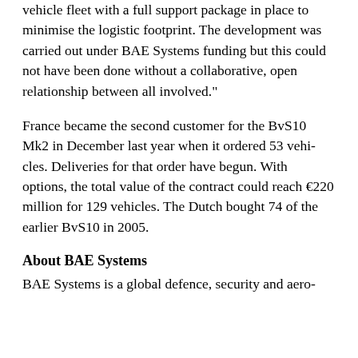vehicle fleet with a full support package in place to minimise the logistic footprint. The development was carried out under BAE Systems funding but this could not have been done without a collaborative, open relationship between all involved."
France became the second customer for the BvS10 Mk2 in December last year when it ordered 53 vehicles. Deliveries for that order have begun. With options, the total value of the contract could reach €220 million for 129 vehicles. The Dutch bought 74 of the earlier BvS10 in 2005.
About BAE Systems
BAE Systems is a global defence, security and aero-